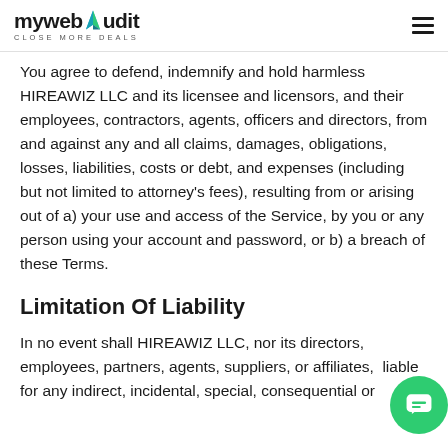mywebaudit CLOSE MORE DEALS
You agree to defend, indemnify and hold harmless HIREAWIZ LLC and its licensee and licensors, and their employees, contractors, agents, officers and directors, from and against any and all claims, damages, obligations, losses, liabilities, costs or debt, and expenses (including but not limited to attorney's fees), resulting from or arising out of a) your use and access of the Service, by you or any person using your account and password, or b) a breach of these Terms.
Limitation Of Liability
In no event shall HIREAWIZ LLC, nor its directors, employees, partners, agents, suppliers, or affiliates, liable for any indirect, incidental, special, consequential or